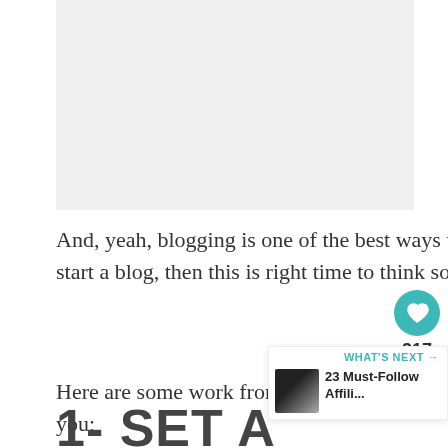[Figure (photo): Light gray image placeholder at top of page]
And, yeah, blogging is one of the best ways to work from home. If you haven't yet considered to start a blog, then this is right time to think so.
Here are some work from home tips for you;
1- SET A ROUTINE